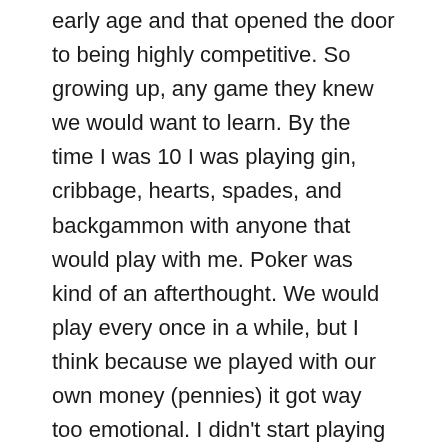early age and that opened the door to being highly competitive. So growing up, any game they knew we would want to learn. By the time I was 10 I was playing gin, cribbage, hearts, spades, and backgammon with anyone that would play with me. Poker was kind of an afterthought. We would play every once in a while, but I think because we played with our own money (pennies) it got way too emotional. I didn't start playing on a regular basis until college. Our fraternity would play every couple of weeks and it was always a good spot to pick up some beer money.
What made you decide to switch from cash